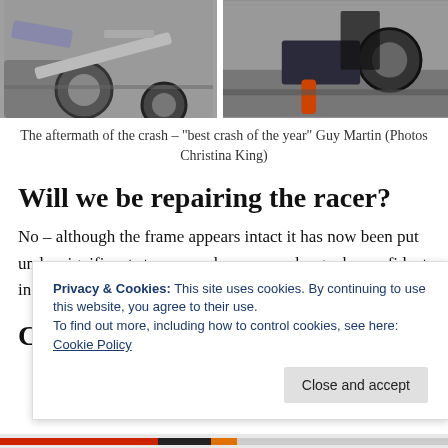[Figure (photo): Two photos side by side showing the aftermath of a crash — bent and damaged cycling equipment on pavement]
The aftermath of the crash – "best crash of the year" Guy Martin (Photos Christina King)
Will we be repairing the racer?
No – although the frame appears intact it has now been put under significant stresses and we can no longer be confident in its structural integrity.
Could we have gone faster?
Privacy & Cookies: This site uses cookies. By continuing to use this website, you agree to their use.
To find out more, including how to control cookies, see here: Cookie Policy